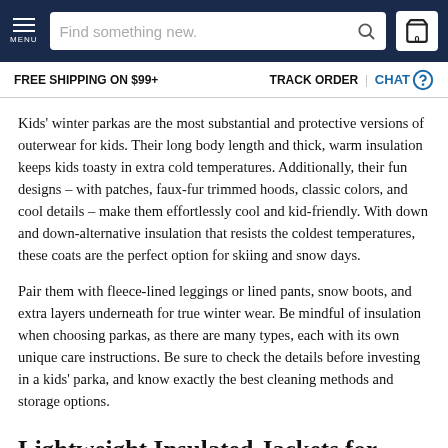MENU | Find something new. | 0
FREE SHIPPING ON $99+ | TRACK ORDER | CHAT
Kids' winter parkas are the most substantial and protective versions of outerwear for kids. Their long body length and thick, warm insulation keeps kids toasty in extra cold temperatures. Additionally, their fun designs – with patches, faux-fur trimmed hoods, classic colors, and cool details – make them effortlessly cool and kid-friendly. With down and down-alternative insulation that resists the coldest temperatures, these coats are the perfect option for skiing and snow days.
Pair them with fleece-lined leggings or lined pants, snow boots, and extra layers underneath for true winter wear. Be mindful of insulation when choosing parkas, as there are many types, each with its own unique care instructions. Be sure to check the details before investing in a kids' parka, and know exactly the best cleaning methods and storage options.
Lightweight Insulated Jackets for Kids